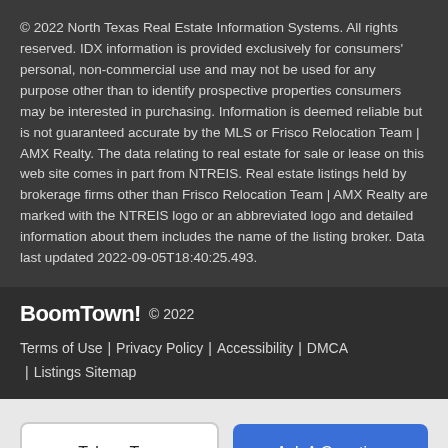© 2022 North Texas Real Estate Information Systems. All rights reserved. IDX information is provided exclusively for consumers' personal, non-commercial use and may not be used for any purpose other than to identify prospective properties consumers may be interested in purchasing. Information is deemed reliable but is not guaranteed accurate by the MLS or Frisco Relocation Team | AMX Realty. The data relating to real estate for sale or lease on this web site comes in part from NTREIS. Real estate listings held by brokerage firms other than Frisco Relocation Team | AMX Realty are marked with the NTREIS logo or an abbreviated logo and detailed information about them includes the name of the listing broker. Data last updated 2022-09-05T18:40:25.493.
BoomTown! © 2022 | Terms of Use | Privacy Policy | Accessibility | DMCA | Listings Sitemap